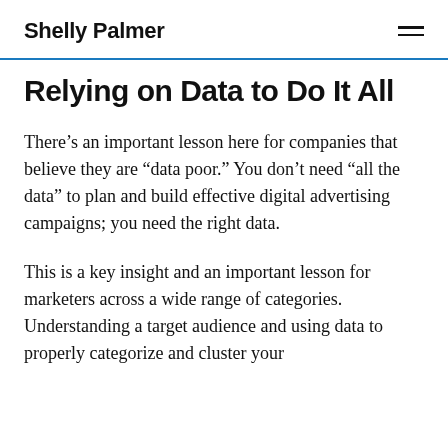Shelly Palmer
Relying on Data to Do It All
There’s an important lesson here for companies that believe they are “data poor.” You don’t need “all the data” to plan and build effective digital advertising campaigns; you need the right data.
This is a key insight and an important lesson for marketers across a wide range of categories. Understanding a target audience and using data to properly categorize and cluster your